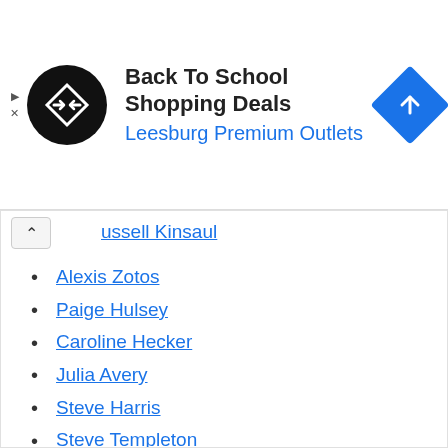[Figure (screenshot): Advertisement banner for Back To School Shopping Deals at Leesburg Premium Outlets. Features a black circular logo with a double-arrow symbol, the ad title in bold, subtitle in blue, and a blue diamond navigation icon on the right.]
Russell Kinsaul
Alexis Zotos
Paige Hulsey
Caroline Hecker
Julia Avery
Steve Harris
Steve Templeton
Kent Ehrhardt
Kristen Cornett